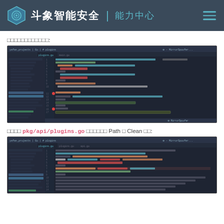斗象智能安全 | 能力中心
□□□□□□□□□□□□:
[Figure (screenshot): IDE screenshot showing Go source code in a dark-themed code editor with file tree sidebar]
□□□□ pkg/api/plugins.go □□□□□□ Path □ Clean □□:
[Figure (screenshot): Second IDE screenshot showing pkg/api/plugins.go file with Go source code]